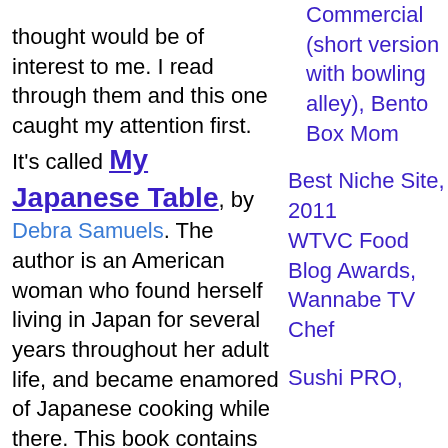thought would be of interest to me. I read through them and this one caught my attention first. It's called My Japanese Table, by Debra Samuels. The author is an American woman who found herself living in Japan for several years throughout her adult life, and became enamored of Japanese cooking while there. This book contains general staples as well as a selection of various types of dishes suitable for
Commercial (short version with bowling alley), Bento Box Mom
Best Niche Site, 2011 WTVC Food Blog Awards, Wannabe TV Chef
Sushi PRO,